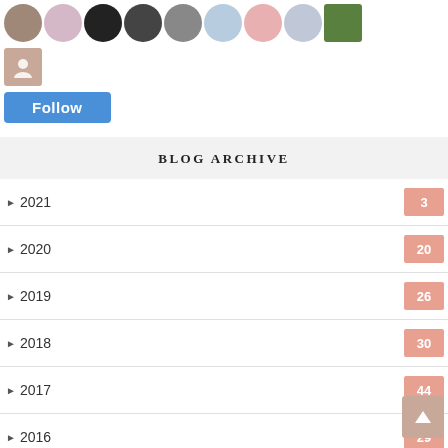[Figure (illustration): Row of avatar/profile photos of blog followers, 9 circular/rounded avatars shown in a horizontal row]
[Figure (illustration): Single placeholder avatar icon (person silhouette on brown/tan background)]
[Figure (illustration): Blue Follow button]
BLOG ARCHIVE
2021  3
2020  20
2019  26
2018  30
2017  44
2016  29
2015  2
2014  4